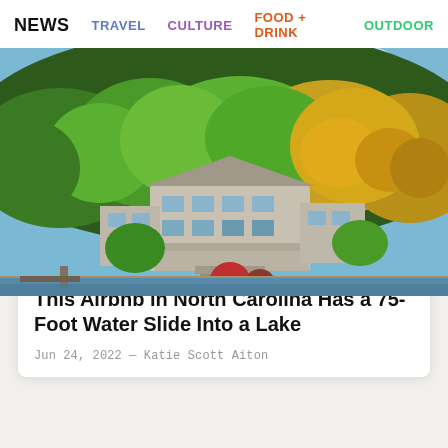NEWS  TRAVEL  CULTURE  FOOD + DRINK  OUTDOOR
[Figure (photo): Aerial photo of a large lakeside house surrounded by dense autumn forest with green, yellow, and orange trees. The house has multiple stories with large windows and decks, and a dock is visible at the water's edge.]
TRAVEL
This Airbnb in North Carolina Has a 75-Foot Water Slide Into a Lake
Jun 24, 2022 — Katie Scott Aiton